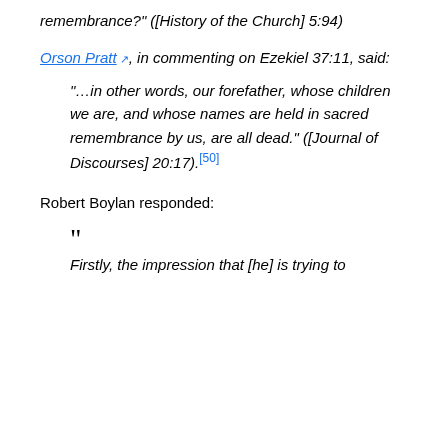remembrance?" ([History of the Church] 5:94)
Orson Pratt ☞, in commenting on Ezekiel 37:11, said:
"…in other words, our forefather, whose children we are, and whose names are held in sacred remembrance by us, are all dead." ([Journal of Discourses] 20:17). [50]
Robert Boylan responded:
" Firstly, the impression that [he] is trying to